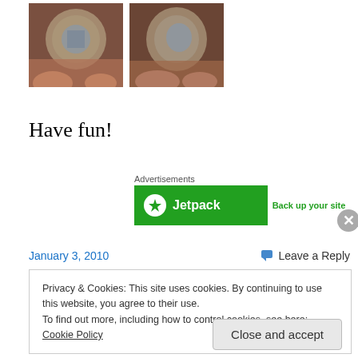[Figure (photo): Two silver coin/pendant jewelry pieces held in hands, side by side photos]
Have fun!
Advertisements
[Figure (other): Jetpack advertisement banner: green background, Jetpack logo on left, 'Back up your site' on white right panel]
January 3, 2010
Leave a Reply
Privacy & Cookies: This site uses cookies. By continuing to use this website, you agree to their use.
To find out more, including how to control cookies, see here: Cookie Policy
Close and accept